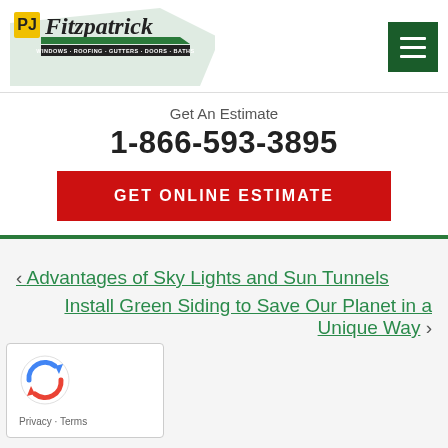[Figure (logo): PJ Fitzpatrick logo with text: WINDOWS · ROOFING · GUTTERS · DOORS · BATHS]
Get An Estimate
1-866-593-3895
GET ONLINE ESTIMATE
‹ Advantages of Sky Lights and Sun Tunnels
Install Green Siding to Save Our Planet in a Unique Way ›
[Figure (other): Google reCAPTCHA widget with Privacy and Terms links]